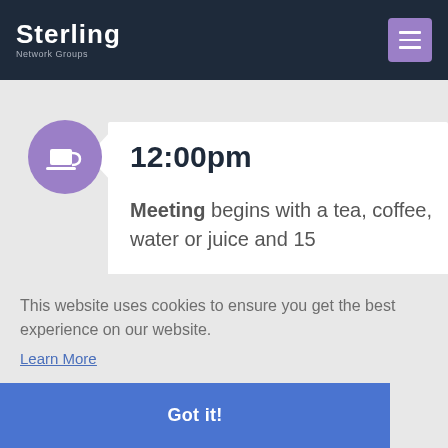Sterling Network Groups
12:00pm
Meeting begins with a tea, coffee, water or juice and 15
This website uses cookies to ensure you get the best experience on our website.
Learn More
Got it!